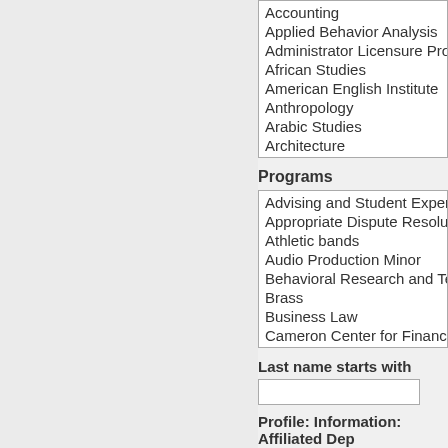Accounting
Applied Behavior Analysis
Administrator Licensure Program
African Studies
American English Institute
Anthropology
Arabic Studies
Architecture
Programs
Advising and Student Experience
Appropriate Dispute Resolution Cen
Athletic bands
Audio Production Minor
Behavioral Research and Teaching
Brass
Business Law
Cameron Center for Finance and Se
Last name starts with
Profile: Information: Affiliated Dep
<Any>
Username
First Name
Last Na